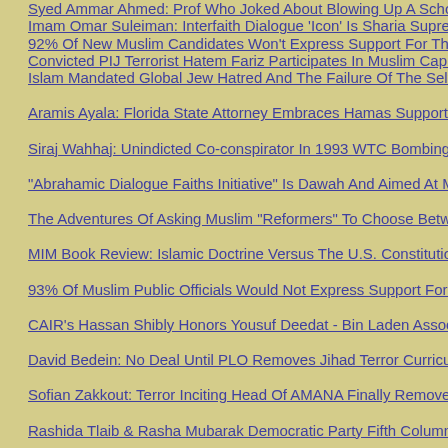Syed Ammar Ahmed: Prof Who Joked About Blowing Up A School Leaves E...
Imam Omar Suleiman: Interfaith Dialogue 'Icon' Is Sharia Supremacist And A...
92% Of New Muslim Candidates Won't Express Support For The Constitutio...
Convicted PIJ Terrorist Hatem Fariz Participates In Muslim Capitol Day In Ta...
Islam Mandated Global Jew Hatred And The Failure Of The Self Proclaimed...
Aramis Ayala: Florida State Attorney Embraces Hamas Supporter & Jew Hat...
Siraj Wahhaj: Unindicted Co-conspirator In 1993 WTC Bombing Speaks At IC...
"Abrahamic Dialogue Faiths Initiative" Is Dawah And Aimed At Making Islam...
The Adventures Of Asking Muslim "Reformers" To Choose Between The Con...
MIM Book Review: Islamic Doctrine Versus The U.S. Constitution By Dr. Ste...
93% Of Muslim Public Officials Would Not Express Support For The Constitu...
CAIR's Hassan Shibly Honors Yousuf Deedat - Bin Laden Associate And Far...
David Bedein: No Deal Until PLO Removes Jihad Terror Curriculum From Th...
Sofian Zakkout: Terror Inciting Head Of AMANA Finally Removed From Crim...
Rashida Tlaib & Rasha Mubarak Democratic Party Fifth Columnists Promotin...
Jihad Through Dawah: 'Taliban' Imam Izhar Khan Calls For Christmas "Con"...
Latest Report By David Bedein: UNRWA's Misuse Of Donor Funds Documen...